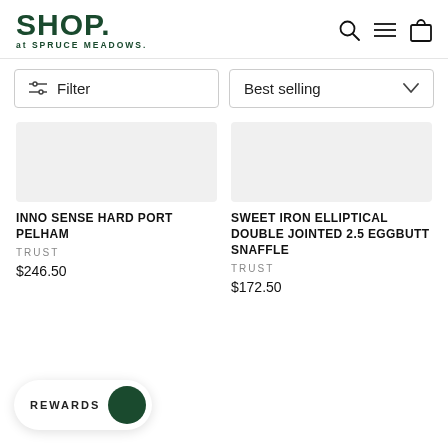SHOP. at SPRUCE MEADOWS.
Filter
Best selling
INNO SENSE HARD PORT PELHAM
TRUST
$246.50
SWEET IRON ELLIPTICAL DOUBLE JOINTED 2.5 EGGBUTT SNAFFLE
TRUST
$172.50
REWARDS